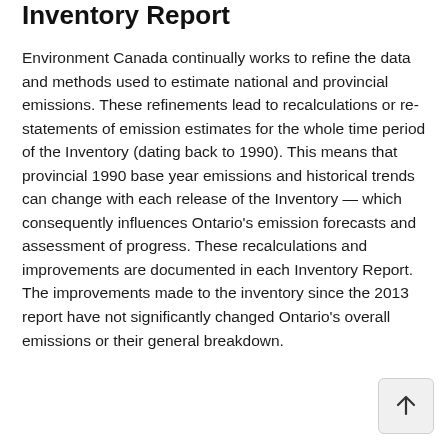Inventory Report
Environment Canada continually works to refine the data and methods used to estimate national and provincial emissions. These refinements lead to recalculations or re-statements of emission estimates for the whole time period of the Inventory (dating back to 1990). This means that provincial 1990 base year emissions and historical trends can change with each release of the Inventory — which consequently influences Ontario's emission forecasts and assessment of progress. These recalculations and improvements are documented in each Inventory Report. The improvements made to the inventory since the 2013 report have not significantly changed Ontario's overall emissions or their general breakdown.